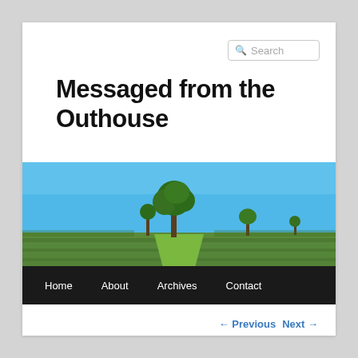Messaged from the Outhouse
[Figure (photo): Panoramic countryside photo showing a wide green agricultural field with a grassy path leading toward a cluster of trees under a bright blue sky. A smaller tree is visible to the right.]
Home   About   Archives   Contact
← Previous   Next →